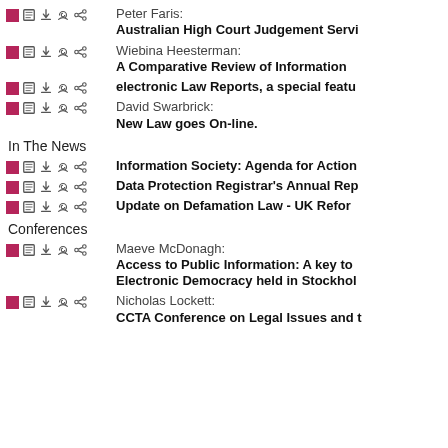Peter Faris: Australian High Court Judgement Servi…
Wiebina Heesterman: A Comparative Review of Information…
electronic Law Reports, a special featu…
David Swarbrick: New Law goes On-line.
In The News
Information Society: Agenda for Action…
Data Protection Registrar's Annual Rep…
Update on Defamation Law - UK Refor…
Conferences
Maeve McDonagh: Access to Public Information: A key to Electronic Democracy held in Stockhol…
Nicholas Lockett: CCTA Conference on Legal Issues and t…